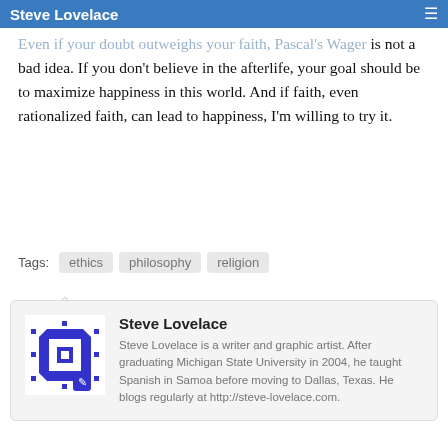Steve Lovelace
Even if your doubt outweighs your faith, Pascal's Wager is not a bad idea. If you don't believe in the afterlife, your goal should be to maximize happiness in this world. And if faith, even rationalized faith, can lead to happiness, I'm willing to try it.
Tags: ethics  philosophy  religion
Steve Lovelace
Steve Lovelace is a writer and graphic artist. After graduating Michigan State University in 2004, he taught Spanish in Samoa before moving to Dallas, Texas. He blogs regularly at http://steve-lovelace.com.